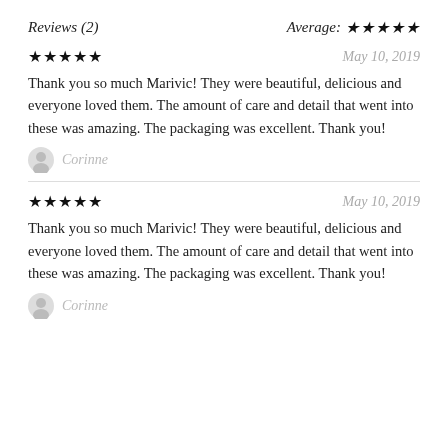Reviews (2)
Average: ★★★★★
★★★★★   May 10, 2019
Thank you so much Marivic! They were beautiful, delicious and everyone loved them. The amount of care and detail that went into these was amazing. The packaging was excellent. Thank you!
Corinne
★★★★★   May 10, 2019
Thank you so much Marivic! They were beautiful, delicious and everyone loved them. The amount of care and detail that went into these was amazing. The packaging was excellent. Thank you!
Corinne